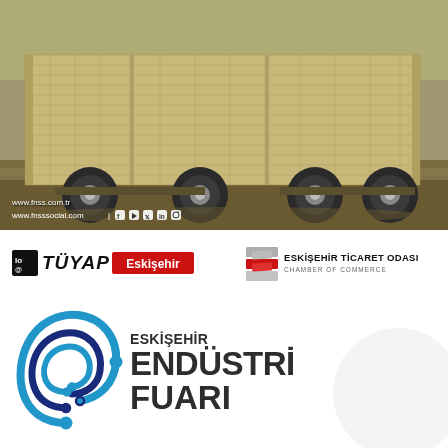[Figure (photo): Military tactical vehicle (armored truck with cage/mesh structure) driving on a dirt field. White overlay text shows website: www.fnss.com.tr and www.fnsssocial.com with social media icons.]
[Figure (logo): TÜYAP Eskişehir logo on left side, and Eskişehir Ticaret Odası (Chamber of Commerce) logo on right side.]
[Figure (logo): Eskişehir Endüstri Fuarı (Eskişehir Industry Fair) logo with blue/dark spiral icon and large bold text.]